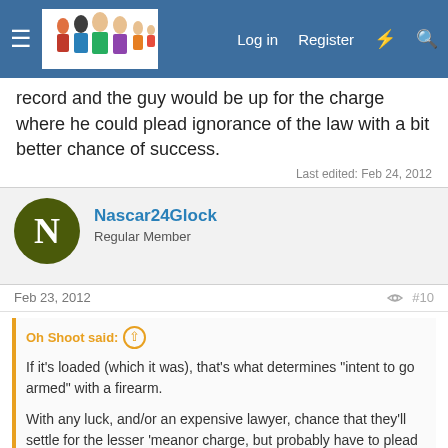Navigation bar with logo, Log in, Register links
record and the guy would be up for the charge where he could plead ignorance of the law with a bit better chance of success.
Last edited: Feb 24, 2012
Nascar24Glock
Regular Member
Feb 23, 2012
#10
Oh Shoot said:
If it's loaded (which it was), that's what determines "intent to go armed" with a firearm.

With any luck, and/or an expensive lawyer, chance that they'll settle for the lesser 'meanor charge, but probably have to plead to it, unless they take great compassion and drop them all together.

- OS